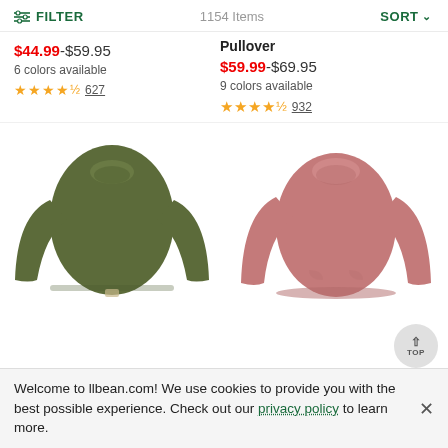FILTER   1154 Items   SORT
$44.99-$59.95
6 colors available
★★★★½ 627
Pullover
$59.99-$69.95
9 colors available
★★★★½ 932
[Figure (photo): Olive/army green women's long-sleeve thermal shirt on white background]
[Figure (photo): Dusty rose/pink women's long-sleeve pullover sweatshirt on white background]
Welcome to llbean.com! We use cookies to provide you with the best possible experience. Check out our privacy policy to learn more.